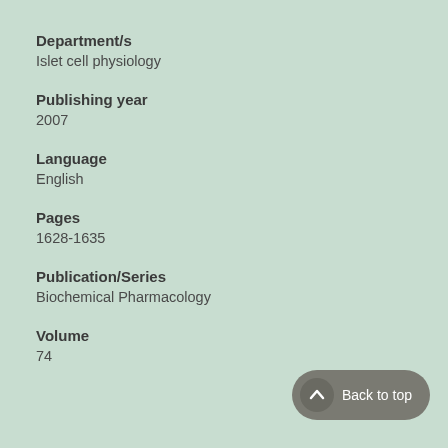Department/s
Islet cell physiology
Publishing year
2007
Language
English
Pages
1628-1635
Publication/Series
Biochemical Pharmacology
Volume
74